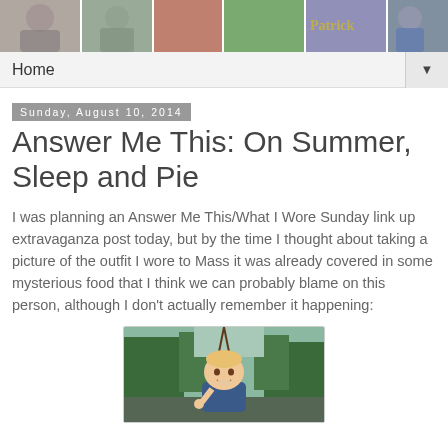[Figure (photo): Header photo strip showing multiple people in outdoor scenes]
Home ▼
Sunday, August 10, 2014
Answer Me This: On Summer, Sleep and Pie
I was planning an Answer Me This/What I Wore Sunday link up extravaganza post today, but by the time I thought about taking a picture of the outfit I wore to Mass it was already covered in some mysterious food that I think we can probably blame on this person, although I don't actually remember it happening:
[Figure (photo): Young toddler child smiling on a swing outdoors with trees in background]